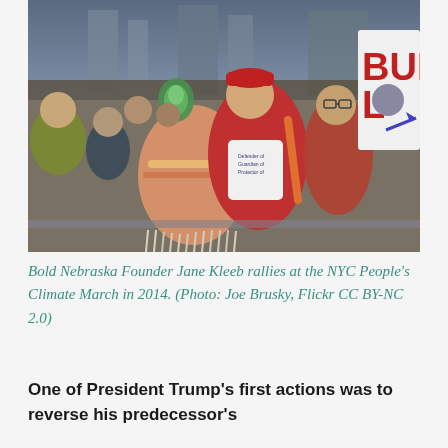[Figure (photo): Bold Nebraska Founder Jane Kleeb hugging a person in Native American traditional dress at the NYC People's Climate March in 2014. Crowd visible in background, person holding a sign reading 'BUILD' in red letters.]
Bold Nebraska Founder Jane Kleeb rallies at the NYC People's Climate March in 2014. (Photo: Joe Brusky, Flickr CC BY-NC 2.0)
One of President Trump's first actions was to reverse his predecessor's